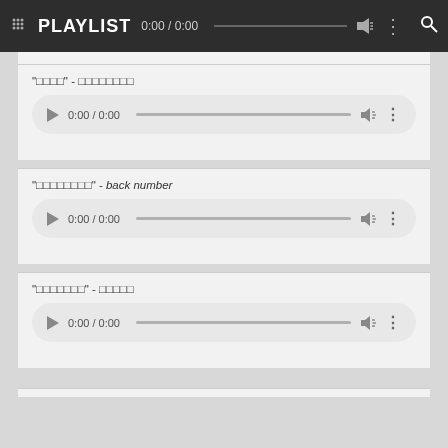PLAYLIST 0:00 / 0:00
"□□□□" - □□□□□□□□
[Figure (other): Audio player control showing 0:00 / 0:00 with progress bar, volume, and more options]
"□□□□□□□□" - back number
[Figure (other): Audio player control showing 0:00 / 0:00 with progress bar, volume, and more options]
"□□□□□□□" - □□□□□
[Figure (other): Audio player control showing 0:00 / 0:00 with progress bar, volume, and more options]